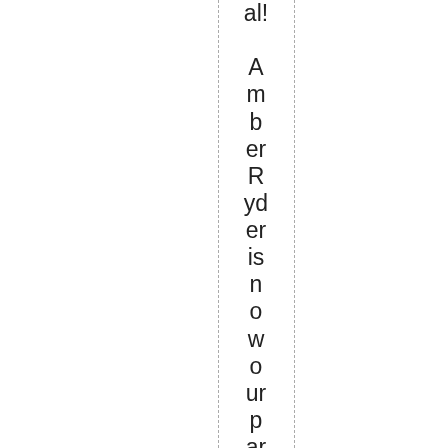al! Amber Ryder is now our part-time Office Manager